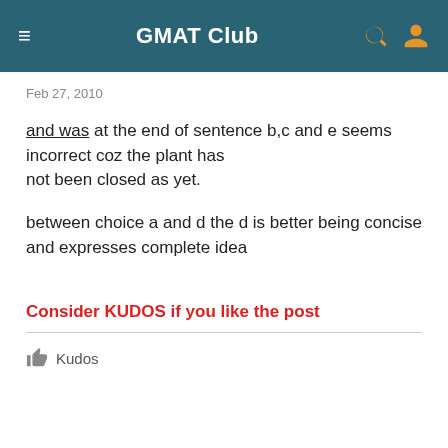GMAT Club
Feb 27, 2010
and was at the end of sentence b,c and e seems incorrect coz the plant has not been closed as yet.
between choice a and d the d is better being concise and expresses complete idea
Consider KUDOS if you like the post
Kudos